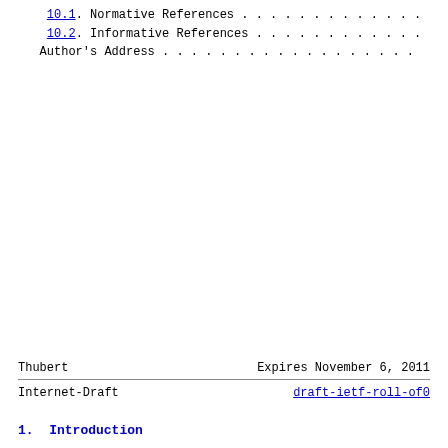10.1. Normative References . . . . . . . . . . . . . .
10.2. Informative References . . . . . . . . . . . . .
Author's Address . . . . . . . . . . . . . . . . . . .
Thubert                    Expires November 6, 2011
Internet-Draft             draft-ietf-roll-of0
1.  Introduction